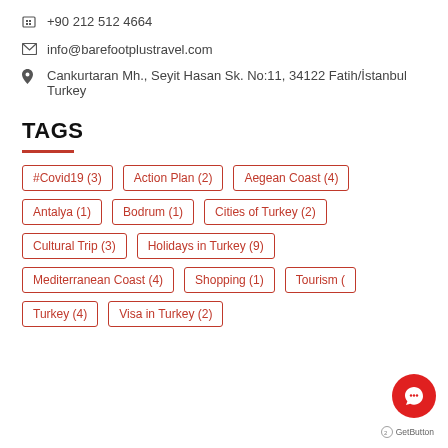📠 +90 212 512 4664
✉ info@barefootplustravel.com
📍 Cankurtaran Mh., Seyit Hasan Sk. No:11, 34122 Fatih/İstanbul Turkey
TAGS
#Covid19 (3)
Action Plan (2)
Aegean Coast (4)
Antalya (1)
Bodrum (1)
Cities of Turkey (2)
Cultural Trip (3)
Holidays in Turkey (9)
Mediterranean Coast (4)
Shopping (1)
Tourism (?)
Turkey (4)
Visa in Turkey (2)